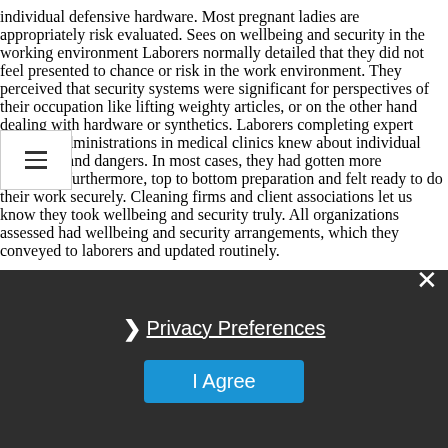individual defensive hardware. Most pregnant ladies are appropriately risk evaluated. Sees on wellbeing and security in the working environment Laborers normally detailed that they did not feel presented to chance or risk in the work environment. They perceived that security systems were significant for perspectives of their occupation like lifting weighty articles, or on the other hand dealing with hardware or synthetics. Laborers completing expert cleaning administrations in medical clinics knew about individual wellbeing and dangers. In most cases, they had gotten more organized furthermore, top to bottom preparation and felt ready to do their work securely. Cleaning firms and client associations let us know they took wellbeing and security truly. All organizations assessed had wellbeing and security arrangements, which they conveyed to laborers and updated routinely.
Privacy Preferences
I Agree